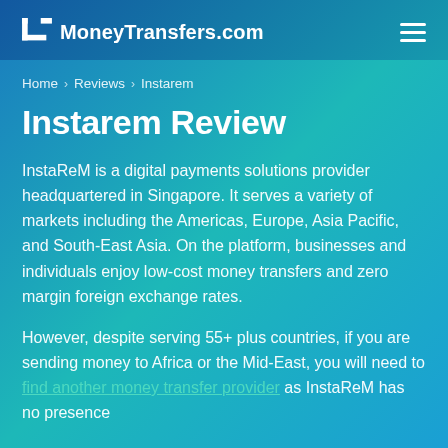MoneyTransfers.com
Home › Reviews › Instarem
Instarem Review
InstaReM is a digital payments solutions provider headquartered in Singapore. It serves a variety of markets including the Americas, Europe, Asia Pacific, and South-East Asia. On the platform, businesses and individuals enjoy low-cost money transfers and zero margin foreign exchange rates.
However, despite serving 55+ plus countries, if you are sending money to Africa or the Mid-East, you will need to find another money transfer provider as InstaReM has no presence